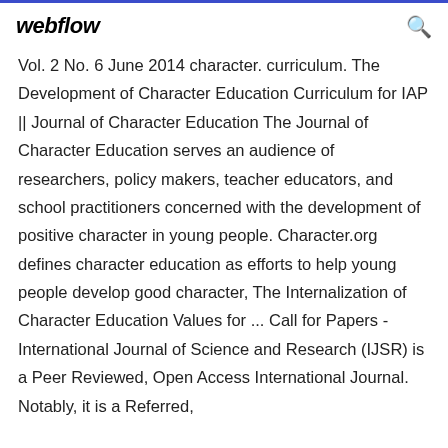webflow
Vol. 2 No. 6 June 2014 character. curriculum. The Development of Character Education Curriculum for IAP || Journal of Character Education The Journal of Character Education serves an audience of researchers, policy makers, teacher educators, and school practitioners concerned with the development of positive character in young people. Character.org defines character education as efforts to help young people develop good character, The Internalization of Character Education Values for ... Call for Papers - International Journal of Science and Research (IJSR) is a Peer Reviewed, Open Access International Journal. Notably, it is a Referred,